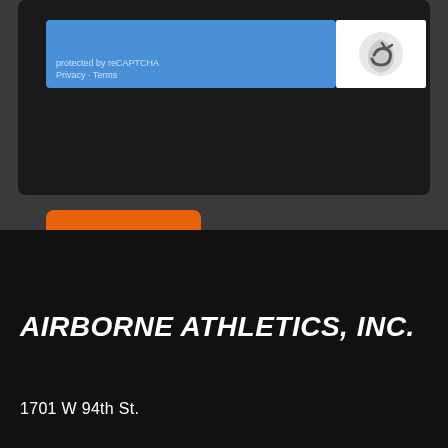[Figure (screenshot): reCAPTCHA widget showing blue background with 'protected by reCAPTCHA' text and 'Privacy · Terms' links, with reCAPTCHA logo on the right side]
[Figure (other): Orange SUBMIT button with white bold text]
AIRBORNE ATHLETICS, INC.
1701 W 94th St.